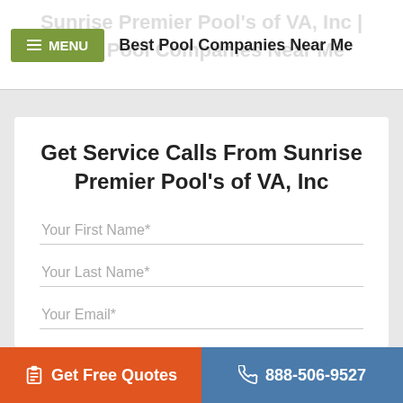Sunrise Premier Pool's of VA, Inc | Best Pool Companies Near Me
Get Service Calls From Sunrise Premier Pool's of VA, Inc
Your First Name*
Your Last Name*
Your Email*
Get Free Quotes   888-506-9527